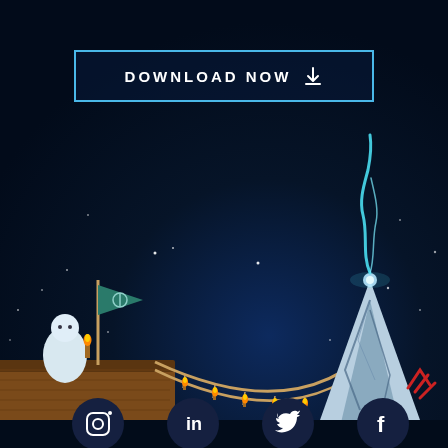[Figure (illustration): Dark night sky with stars, a fantasy scene featuring a suspension bridge with torches, a character with a flag on the left, and a glowing ice mountain peak with blue flame on the right. Social media icons (Instagram, LinkedIn, Twitter, Facebook) at the bottom. A 'DOWNLOAD NOW' button with download arrow icon at the top center in a blue-bordered rectangle.]